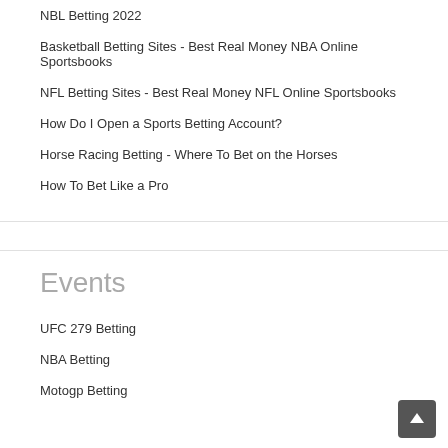NBL Betting 2022
Basketball Betting Sites - Best Real Money NBA Online Sportsbooks
NFL Betting Sites - Best Real Money NFL Online Sportsbooks
How Do I Open a Sports Betting Account?
Horse Racing Betting - Where To Bet on the Horses
How To Bet Like a Pro
Events
UFC 279 Betting
NBA Betting
Motogp Betting